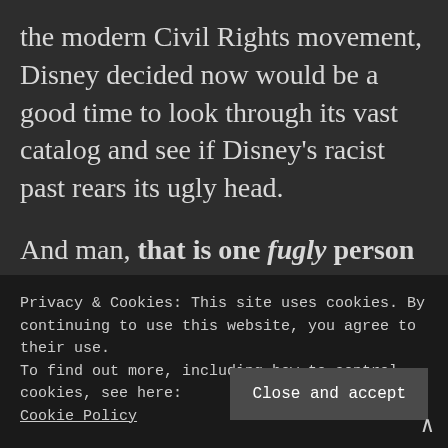the modern Civil Rights movement, Disney decided now would be a good time to look through its vast catalog and see if Disney's racist past rears its ugly head.

And man, that is one fugly person upon second glance.

Now, when families scroll through the classics from Disney's vault and push play on fi...
Privacy & Cookies: This site uses cookies. By continuing to use this website, you agree to their use.
To find out more, including how to control cookies, see here: Cookie Policy
Close and accept